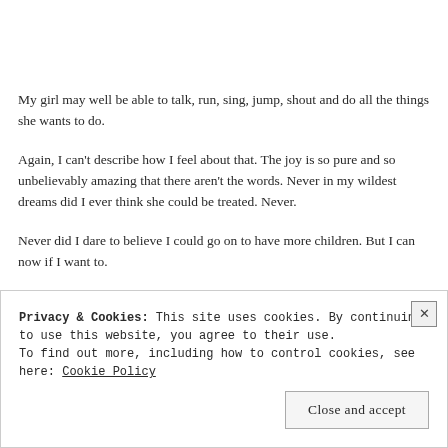My girl may well be able to talk, run, sing, jump, shout and do all the things she wants to do.
Again, I can't describe how I feel about that. The joy is so pure and so unbelievably amazing that there aren't the words. Never in my wildest dreams did I ever think she could be treated. Never.
Never did I dare to believe I could go on to have more children. But I can now if I want to.
Privacy & Cookies: This site uses cookies. By continuing to use this website, you agree to their use.
To find out more, including how to control cookies, see here: Cookie Policy
Close and accept